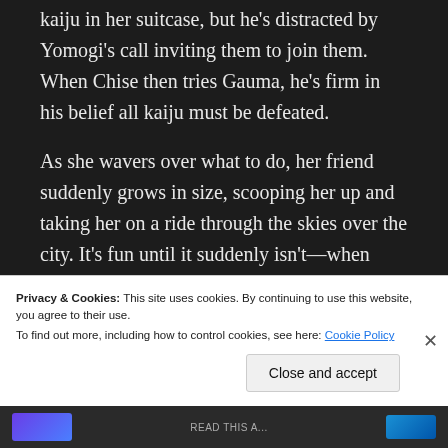kaiju in her suitcase, but he's distracted by Yomogi's call inviting them to join them. When Chise then tries Gauma, he's firm in his belief all kaiju must be defeated.
As she wavers over what to do, her friend suddenly grows in size, scooping her up and taking her on a ride through the skies over the city. It's fun until it suddenly isn't—when Chise spots her school. Goldburn almost obeys the momentary emotions in her heart wishing the school wouldn't exist, but she's able to steer
Privacy & Cookies: This site uses cookies. By continuing to use this website, you agree to their use.
To find out more, including how to control cookies, see here: Cookie Policy